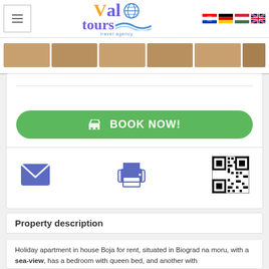Val tours travel agency
[Figure (photo): Photo thumbnail strip showing apartment images]
[Figure (screenshot): Booking widget card with BOOK NOW! button, email icon, print icon, and QR code]
Property description
Holiday apartment in house Boja for rent, situated in Biograd na moru, with a sea-view, has a bedroom with queen bed, and another with